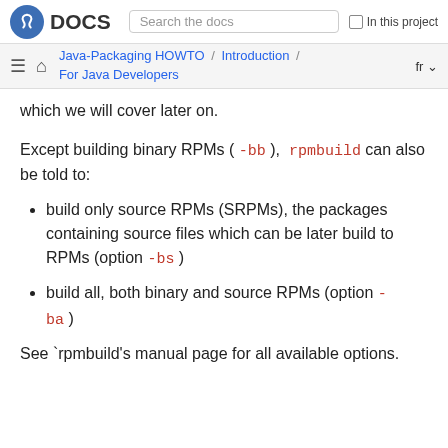DOCS  Search the docs  In this project
Java-Packaging HOWTO / Introduction / For Java Developers   fr
which we will cover later on.
Except building binary RPMs ( -bb ), rpmbuild can also be told to:
build only source RPMs (SRPMs), the packages containing source files which can be later build to RPMs (option -bs )
build all, both binary and source RPMs (option -ba )
See `rpmbuild's manual page for all available options.